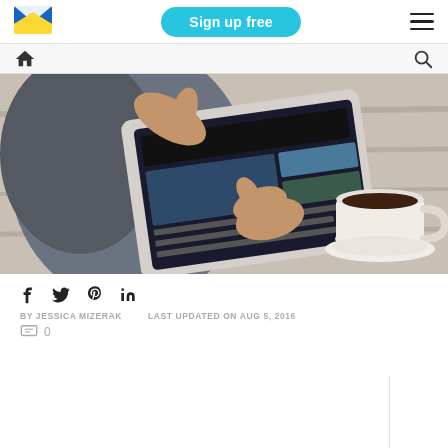Sign up free
[Figure (logo): Email app logo - blue and yellow envelope icon]
[Figure (photo): Person using a tablet/iPad on a wooden table with a cup of coffee nearby]
f  Twitter  Pinterest  in
BY JESSICA MIZERAK   LAST UPDATED ON AUG 5, 2016
0